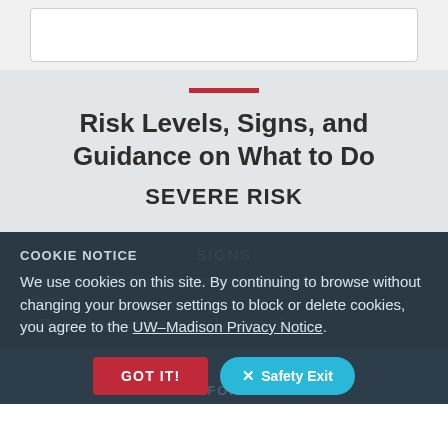[Figure (other): Top white box placeholder area on light gray background]
Risk Levels, Signs, and Guidance on What to Do
SEVERE RISK
SIGNS
A direct, specific, plausible access to means, and harm self or others
Threatening statement(s) or behavior(s)
COOKIE NOTICE
We use cookies on this site. By continuing to browse without changing your browser settings to block or delete cookies, you agree to the UW–Madison Privacy Notice.
CALL FOR HELP
GOT IT!
✕ Safety Exit